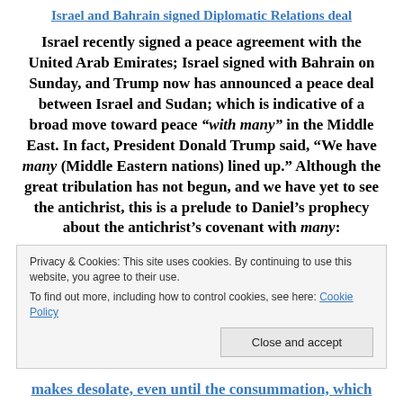Israel and Bahrain signed Diplomatic Relations deal
Israel recently signed a peace agreement with the United Arab Emirates; Israel signed with Bahrain on Sunday, and Trump now has announced a peace deal between Israel and Sudan; which is indicative of a broad move toward peace “with many” in the Middle East. In fact, President Donald Trump said, “We have many (Middle Eastern nations) lined up.” Although the great tribulation has not begun, and we have yet to see the antichrist, this is a prelude to Daniel’s prophecy about the antichrist’s covenant with many:
Privacy & Cookies: This site uses cookies. By continuing to use this website, you agree to their use.
To find out more, including how to control cookies, see here: Cookie Policy
makes desolate, even until the consummation, which